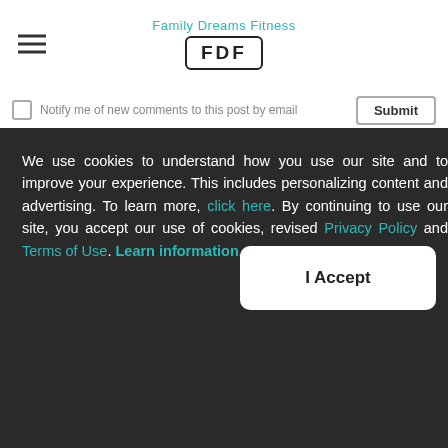Family Dreams Fitness FDF
Notify me of new comments to this post by email    Submit
We use cookies to understand how you use our site and to improve your experience. This includes personalizing content and advertising. To learn more, click here. By continuing to use our site, you accept our use of cookies, revised Privacy Policy and Terms of Use. Learn information.
I Accept